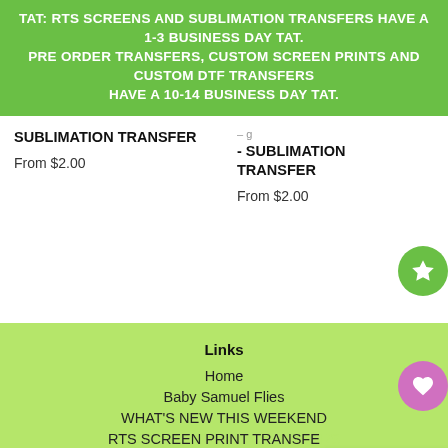TAT: RTS SCREENS AND SUBLIMATION TRANSFERS HAVE A 1-3 BUSINESS DAY TAT. PRE ORDER TRANSFERS, CUSTOM SCREEN PRINTS AND CUSTOM DTF TRANSFERS HAVE A 10-14 BUSINESS DAY TAT.
SUBLIMATION TRANSFER
From $2.00
- SUBLIMATION TRANSFER
From $2.00
Links
Home
Baby Samuel Flies
WHAT'S NEW THIS WEEKEND
RTS SCREEN PRINT TRANSFE…
PRICKLY TUESDAY DEAL -
REWARDS